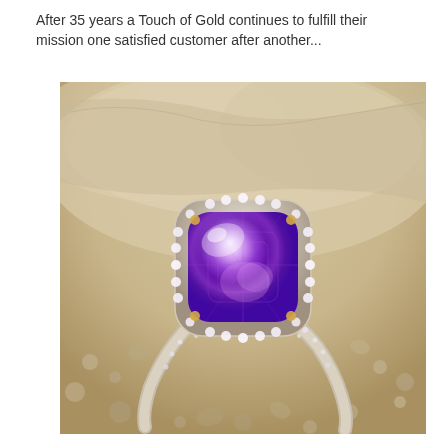After 35 years a Touch of Gold continues to fulfill their mission one satisfied customer after another...
[Figure (photo): Close-up photograph of a large cushion-cut amethyst gemstone ring with a diamond halo setting and pave diamond band, resting on sandy gravel and rock surface outdoors in natural light.]